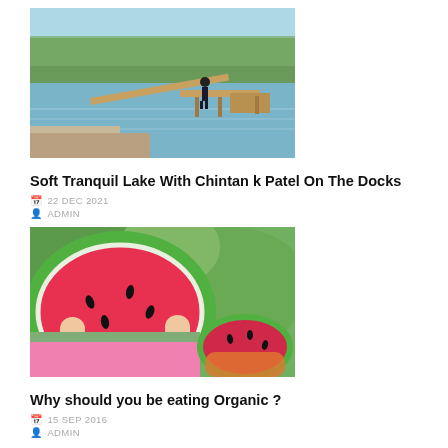[Figure (photo): Person standing on a wooden dock extending into a calm lake, surrounded by trees]
Soft Tranquil Lake With Chintan k Patel On The Docks
22 DEC 2021
ADMIN
[Figure (photo): Young child eating a slice of watermelon outdoors with another watermelon in the background]
Why should you be eating Organic ?
15 SEP 2016
ADMIN